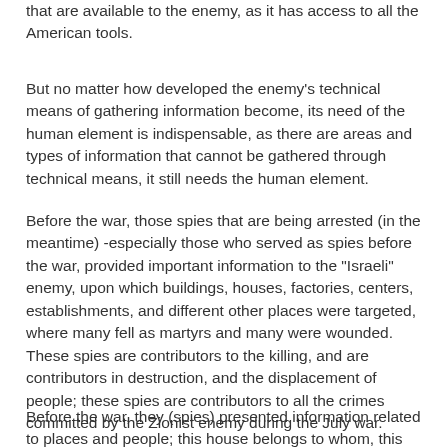that are available to the enemy, as it has access to all the American tools.
But no matter how developed the enemy's technical means of gathering information become, its need of the human element is indispensable, as there are areas and types of information that cannot be gathered through technical means, it still needs the human element.
Before the war, those spies that are being arrested (in the meantime) -especially those who served as spies before the war, provided important information to the "Israeli" enemy, upon which buildings, houses, factories, centers, establishments, and different other places were targeted, where many fell as martyrs and many were wounded. These spies are contributors to the killing, and are contributors in destruction, and the displacement of people; these spies are contributors to all the crimes committed by the Zionist enemy during the July war.
Before the war, they (spies) presented information related to places and people; this house belongs to whom, this market